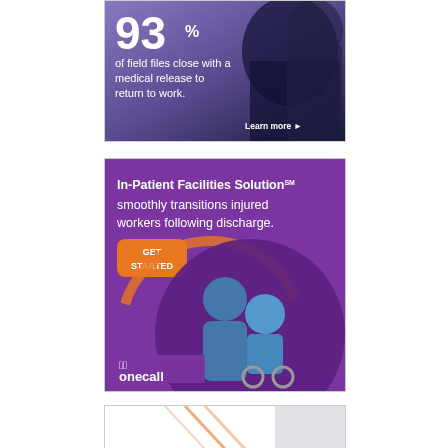[Figure (infographic): Advertisement banner with purple/dark background showing two people, large '93%' statistic, text 'of field files close with a medical release to return to work.' and 'Learn more' link.]
[Figure (infographic): Purple advertisement for 'In-Patient Facilities Solution' by OneCall showing nurse and wheelchair patient, with orange 'GET STARTED' button and text 'smoothly transitions injured workers following discharge.']
[Figure (infographic): Partial advertisement visible at bottom of page, white background with orange diagonal design elements.]